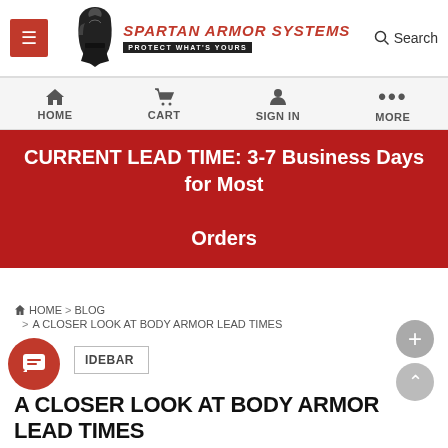Spartan Armor Systems — Protect What's Yours
HOME  CART  SIGN IN  MORE
CURRENT LEAD TIME:  3-7 Business Days for Most Orders
HOME > BLOG > A CLOSER LOOK AT BODY ARMOR LEAD TIMES
IDEBAR
A CLOSER LOOK AT BODY ARMOR LEAD TIMES